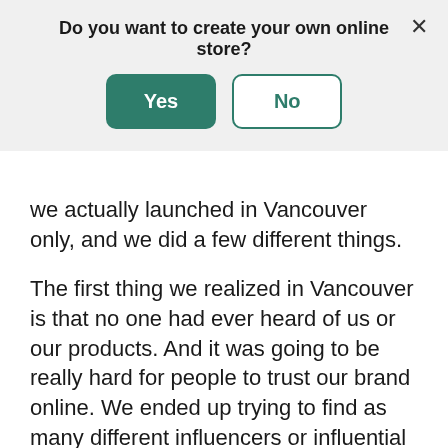Do you want to create your own online store?
[Figure (screenshot): Modal dialog with Yes and No buttons and a close X button]
we actually launched in Vancouver only, and we did a few different things.
The first thing we realized in Vancouver is that no one had ever heard of us or our products. And it was going to be really hard for people to trust our brand online. We ended up trying to find as many different influencers or influential people on Instagram or on Facebook that we could gift our product to. We reached out to hundreds of different content creators asking if we could gift them our product.